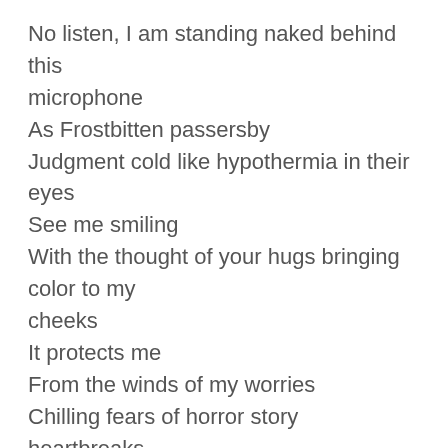No listen, I am standing naked behind this microphone
As Frostbitten passersby
Judgment cold like hypothermia in their eyes
See me smiling
With the thought of your hugs bringing color to my cheeks
It protects me
From the winds of my worries
Chilling fears of horror story heartbreaks
My love...you are the hero of my heart
And I would wait for your arrival
As the earth opened up underneath me
To swallow me whole
Knowing that your presence is my safety net
Cradled in your breasts
But nursed by your voice